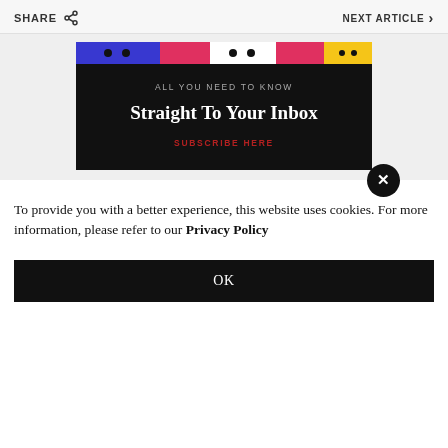SHARE  NEXT ARTICLE >
[Figure (illustration): Newsletter subscription banner with colorful cartoon face strip at top. Black background with text: 'ALL YOU NEED TO KNOW' and 'Straight To Your Inbox' and 'SUBSCRIBE HERE' in red. A black circular close button with X is overlaid at bottom right.]
To provide you with a better experience, this website uses cookies. For more information, please refer to our Privacy Policy
OK